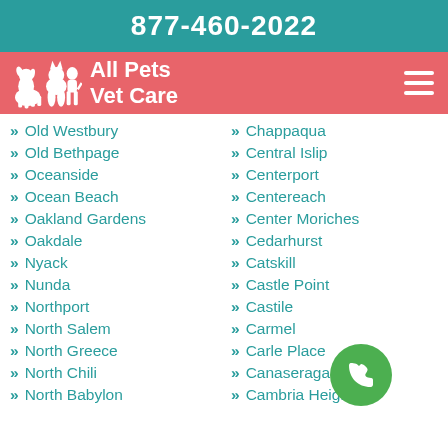877-460-2022
All Pets Vet Care
Old Westbury
Chappaqua
Old Bethpage
Central Islip
Oceanside
Centerport
Ocean Beach
Centereach
Oakland Gardens
Center Moriches
Oakdale
Cedarhurst
Nyack
Catskill
Nunda
Castle Point
Northport
Castile
North Salem
Carmel
North Greece
Carle Place
North Chili
Canaseraga
North Babylon
Cambria Heights